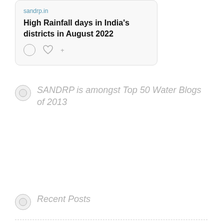[Figure (screenshot): A social media card/embed showing a link preview with the URL 'sandrp.in' and title 'High Rainfall days in India’s districts in August 2022', with comment and like icons below]
SANDRP is amongst Top 50 Water Blogs of 2013
Recent Posts